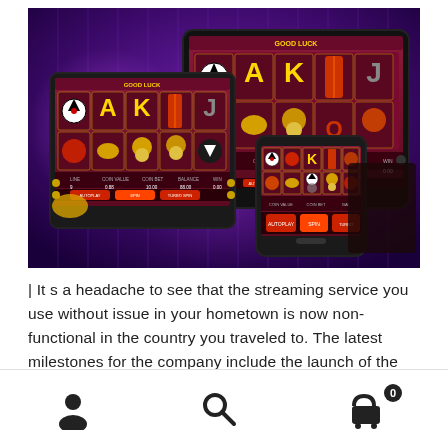[Figure (screenshot): Screenshot of a casino slot game 'Good Luck' displayed on three devices: a tablet (left), a large tablet/monitor (center-right), and a smartphone (front-center). The game features Asian-themed slot reels with symbols including yin-yang, lanterns, playing card letters (A, K, J, Q), and gold ingots. The background is purple/violet with bokeh lighting effects.]
| It s a headache to see that the streaming service you use without issue in your hometown is now non-functional in the country you traveled to. The latest milestones for the company include the launch of the fastest native mobile
Navigation icons: user profile, search, shopping cart (0)